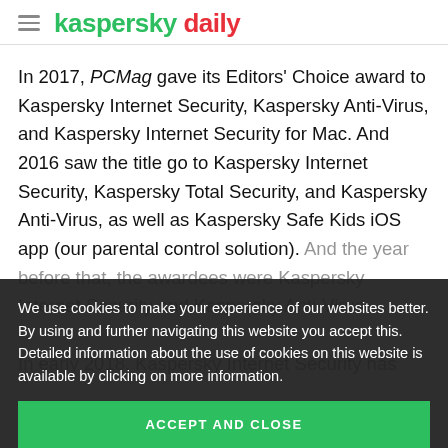kaspersky daily
In 2017, PCMag gave its Editors' Choice award to Kaspersky Internet Security, Kaspersky Anti-Virus, and Kaspersky Internet Security for Mac. And 2016 saw the title go to Kaspersky Internet Security, Kaspersky Total Security, and Kaspersky Anti-Virus, as well as Kaspersky Safe Kids iOS app (our parental control solution). And the year before that, the awardees were Kaspersky Internet Security and Kaspersky Anti-Virus. In early 2018, Kaspersky Internet Security has
We use cookies to make your experience of our websites better. By using and further navigating this website you accept this. Detailed information about the use of cookies on this website is available by clicking on more information.
ACCEPT AND CLOSE